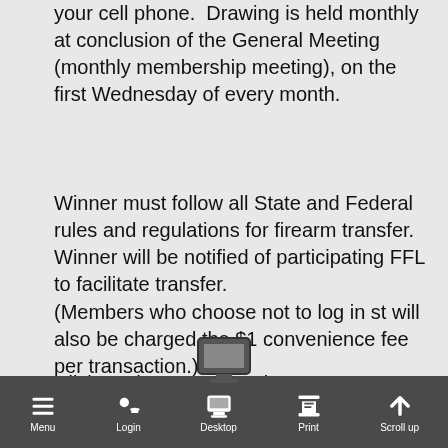your cell phone.  Drawing is held monthly at conclusion of the General Meeting (monthly membership meeting), on the first Wednesday of every month.
Winner must follow all State and Federal rules and regulations for firearm transfer.  Winner will be notified of participating FFL to facilitate transfer.
Click on the "Buy Now" button to purchase tickets.  Members should log in using the button in the middle of the purchase/register screen.  Tickets may be purchased by non-members, but they will be charged an additional $1 convenience fee per transaction.  If you want more than one ticket, choose yourself plus "x" number of guests to arrive at the total number of tickets desired.
(Members who choose not to log in st will also be charged the $1 convenience fee per transaction.)
Menu | Login | Desktop | Print | Scroll up